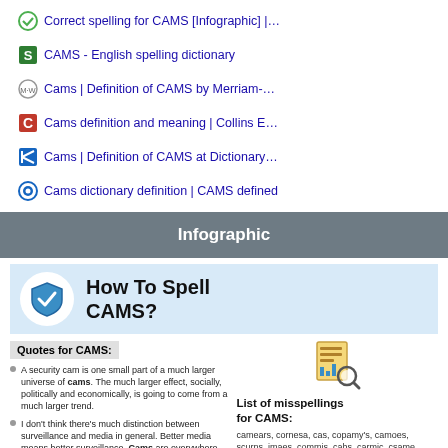Correct spelling for CAMS [Infographic] |…
CAMS - English spelling dictionary
Cams | Definition of CAMS by Merriam-…
Cams definition and meaning | Collins E…
Cams | Definition of CAMS at Dictionary…
Cams dictionary definition | CAMS defined
Infographic
[Figure (infographic): How To Spell CAMS? infographic with shield checkmark icon, Quotes for CAMS section with two bullet quotes about cams, and List of misspellings for CAMS with a document/search icon and misspellings list.]